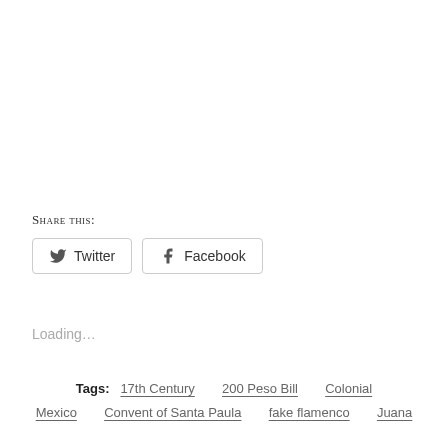Share this:
Twitter  Facebook
Loading…
Tags:  17th Century   200 Peso Bill   Colonial   Mexico   Convent of Santa Paula   fake flamenco   Juana